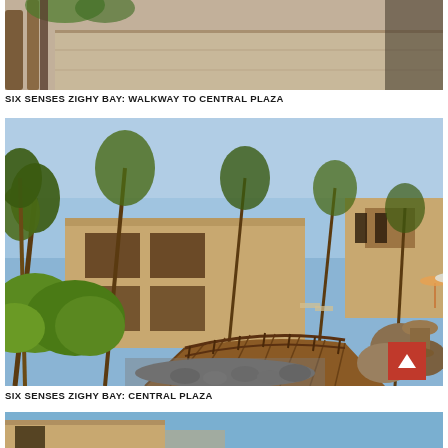[Figure (photo): Cropped photo of Six Senses Zighy Bay walkway to central plaza, showing wooden railing and stone wall details]
SIX SENSES ZIGHY BAY: WALKWAY TO CENTRAL PLAZA
[Figure (photo): Photo of Six Senses Zighy Bay Central Plaza showing sandy-colored resort buildings with palm trees, lush green shrubs, a wooden bridge walkway, rocky stream bed, and pool umbrellas in the background under a clear blue sky]
SIX SENSES ZIGHY BAY: CENTRAL PLAZA
[Figure (photo): Partially visible photo at bottom of page showing the exterior of Six Senses Zighy Bay resort building with blue sky]